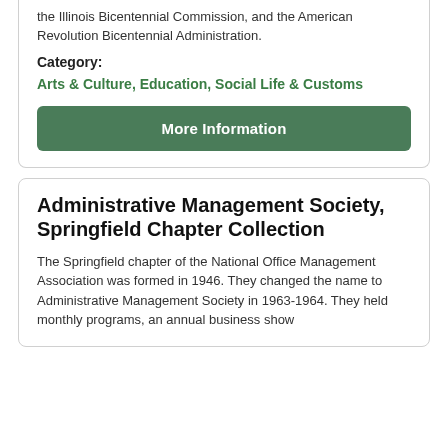the Illinois Bicentennial Commission, and the American Revolution Bicentennial Administration.
Category:
Arts & Culture, Education, Social Life & Customs
More Information
Administrative Management Society, Springfield Chapter Collection
The Springfield chapter of the National Office Management Association was formed in 1946. They changed the name to Administrative Management Society in 1963-1964. They held monthly programs, an annual business show